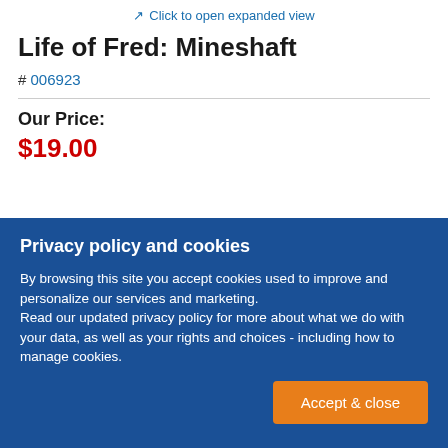Click to open expanded view
Life of Fred: Mineshaft
# 006923
Our Price:
$19.00
Privacy policy and cookies
By browsing this site you accept cookies used to improve and personalize our services and marketing. Read our updated privacy policy for more about what we do with your data, as well as your rights and choices - including how to manage cookies.
Accept & close